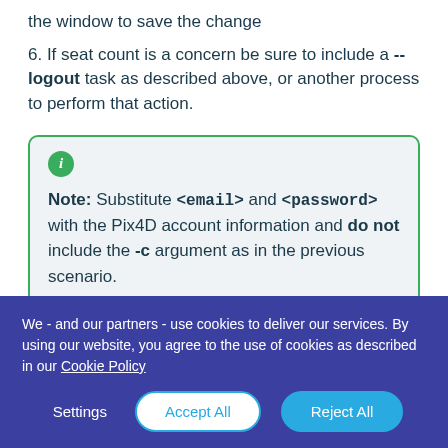the window to save the change
6. If seat count is a concern be sure to include a --logout task as described above, or another process to perform that action.
Note: Substitute <email> and <password> with the Pix4D account information and do not include the -c argument as in the previous scenario.
We - and our partners - use cookies to deliver our services. By using our website, you agree to the use of cookies as described in our Cookie Policy